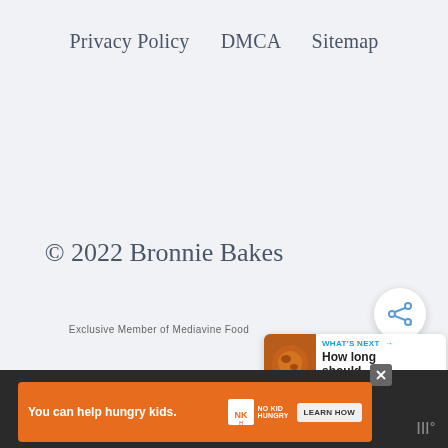Privacy Policy    DMCA    Sitemap
© 2022 Bronnie Bakes
Exclusive Member of Mediavine Food
[Figure (infographic): Share button (circle with share icon and plus sign)]
[Figure (infographic): What's Next panel showing 'How long should...' with a spice image thumbnail]
[Figure (infographic): Advertisement banner: 'You can help hungry kids.' No Kid Hungry logo with Learn How button on orange background]